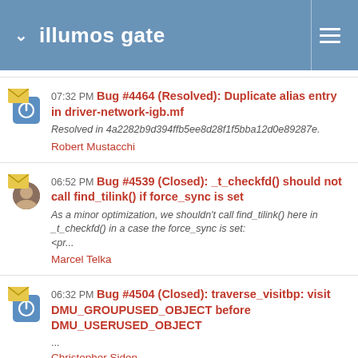illumos gate
07:32 PM Bug #4464 (Resolved): Duplicate alias entry in driver-network-igb.mf
Resolved in 4a2282b9d394ffb5ee8d28f1f5bba12d0e89287e.
Robert Mustacchi
06:52 PM Bug #4539 (Closed): _t_checkfd() should not call find_tilink() if force_sync is set
As a minor optimization, we shouldn't call find_tilink() here in _t_checkfd() in a case the force_sync is set:
<pr...
Marcel Telka
06:32 PM Bug #4504 (Closed): traverse_visitbp: visit DMU_GROUPUSED_OBJECT before DMU_USERUSED_OBJECT
...
Christopher Siden